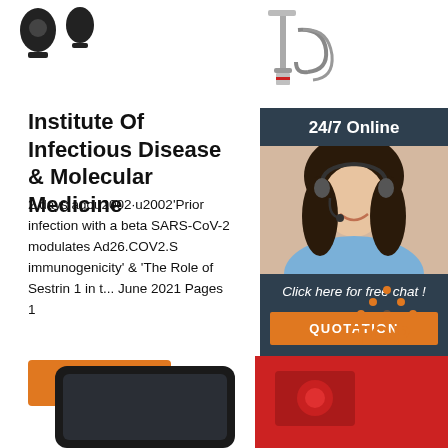[Figure (photo): Partial view of small medical/lab equipment icons at top left]
[Figure (photo): Medical equipment (IV stand or surgical tool) at top right]
Institute Of Infectious Disease & Molecular Medicine
2 days agou2002·u2002'Prior infection with a beta SARS-CoV-2 modulates Ad26.COV2.S immunogenicity' & 'The Role of Sestrin 1 in t... June 2021 Pages 1
[Figure (infographic): Orange Get Price button]
[Figure (infographic): Sidebar: 24/7 Online label, photo of customer service woman with headset, Click here for free chat!, QUOTATION button]
[Figure (logo): Orange TOP icon with dots forming triangle at bottom right area]
[Figure (photo): Partial view of dark tablet/phone and red equipment at bottom]